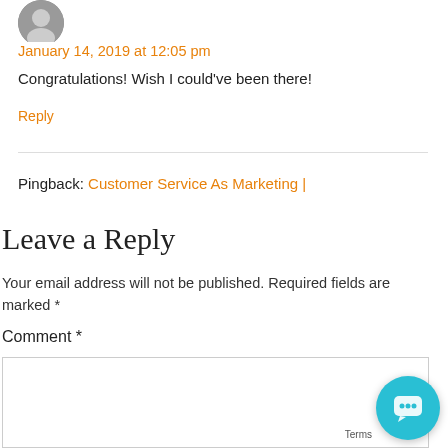[Figure (photo): User avatar photo - circular profile picture of a person]
January 14, 2019 at 12:05 pm
Congratulations! Wish I could've been there!
Reply
Pingback: Customer Service As Marketing |
Leave a Reply
Your email address will not be published. Required fields are marked *
Comment *